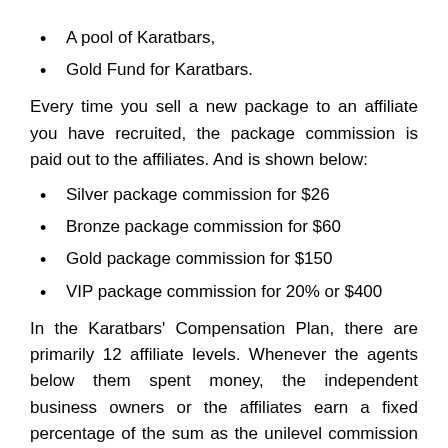A pool of Karatbars,
Gold Fund for Karatbars.
Every time you sell a new package to an affiliate you have recruited, the package commission is paid out to the affiliates. And is shown below:
Silver package commission for $26
Bronze package commission for $60
Gold package commission for $150
VIP package commission for 20% or $400
In the Karatbars' Compensation Plan, there are primarily 12 affiliate levels. Whenever the agents below them spent money, the independent business owners or the affiliates earn a fixed percentage of the sum as the unilevel commission depending on their ranks.
For example, a distributor, the lowest rank holder,